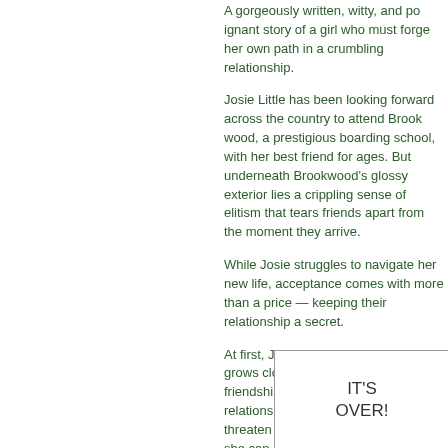A gorgeously written, witty, and poignant story of a girl who must forge her own path in a crumbling relationship.
Josie Little has been looking forward to moving across the country to attend Brookwood, a prestigious boarding school, with her best friend for ages. But underneath Brookwood's glossy exterior lies a crippling sense of elitism that tears friends apart from the moment they arrive.
While Josie struggles to navigate her new life, acceptance comes with more than a price — keeping their relationship a secret.
At first, Josie agrees. But as Annette grows closer to Penn, a boy whose friendship and kindness tests their relationship. When Annette's needs threaten mutual destruction, Josie isn't sure she can continue.
Purchase Without Annette at Am...
Purchase Without Annette at Ind...
View Without Annette on Goodre...
[Figure (other): A bordered box with text reading IT'S OVER! in large letters]